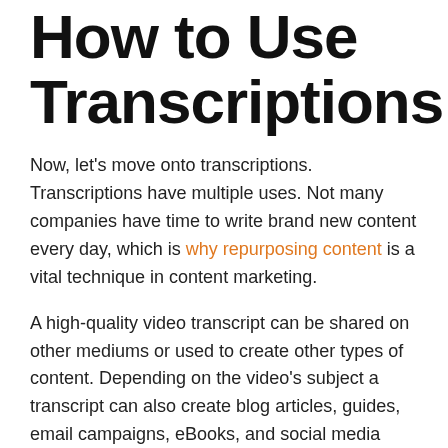How to Use Transcriptions
Now, let's move onto transcriptions. Transcriptions have multiple uses. Not many companies have time to write brand new content every day, which is why repurposing content is a vital technique in content marketing.
A high-quality video transcript can be shared on other mediums or used to create other types of content. Depending on the video's subject a transcript can also create blog articles, guides, email campaigns, eBooks, and social media posts.
Video transcripts align with your SEO keyword strategy. A video transcript helps craft your SEO strategy and better search visibility because if...